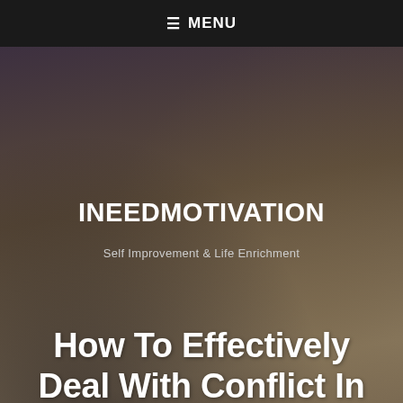≡ MENU
INEEDMOTIVATION
Self Improvement & Life Enrichment
How To Effectively Deal With Conflict In Your Relationship
[Figure (photo): Hero image with silhouettes of people jumping against a warm sunset/dusk sky background, overlaid with dark semi-transparent gradient]